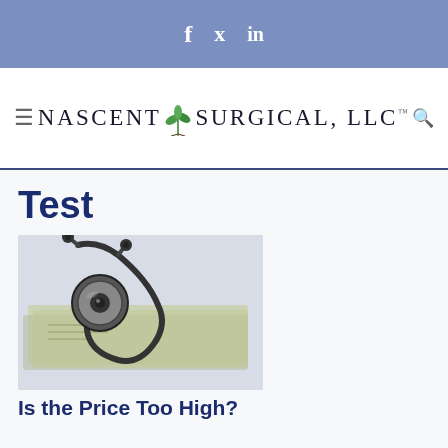f  ✓  in
[Figure (logo): Nascent Surgical, LLC logo with plant icon]
Test
[Figure (photo): Stethoscope resting on US dollar bills]
Is the Price Too High?